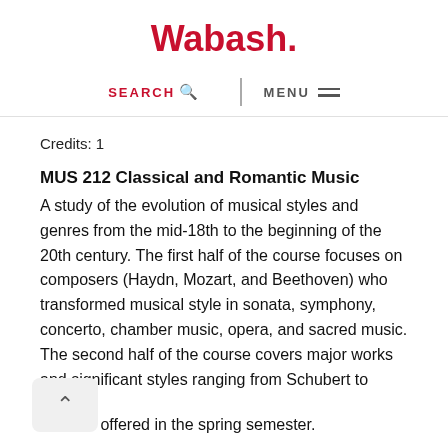Wabash.
Credits: 1
MUS 212 Classical and Romantic Music
A study of the evolution of musical styles and genres from the mid-18th to the beginning of the 20th century. The first half of the course focuses on composers (Haydn, Mozart, and Beethoven) who transformed musical style in sonata, symphony, concerto, chamber music, opera, and sacred music. The second half of the course covers major works and significant styles ranging from Schubert to Mahler. This course is offered in the spring semester.